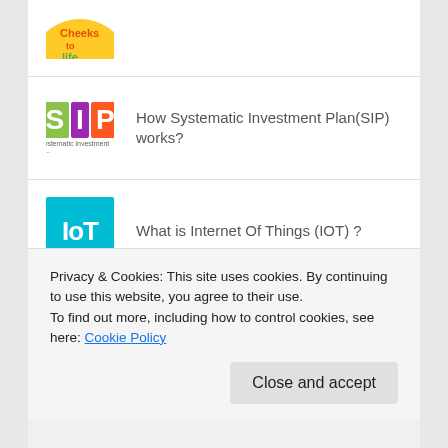[Figure (illustration): Partial circular yellow/orange logo at top (Cheeks to life)]
How Systematic Investment Plan(SIP) works?
What is Internet Of Things (IOT) ?
How to cure depression without pills?
Privacy & Cookies: This site uses cookies. By continuing to use this website, you agree to their use.
To find out more, including how to control cookies, see here: Cookie Policy
Close and accept